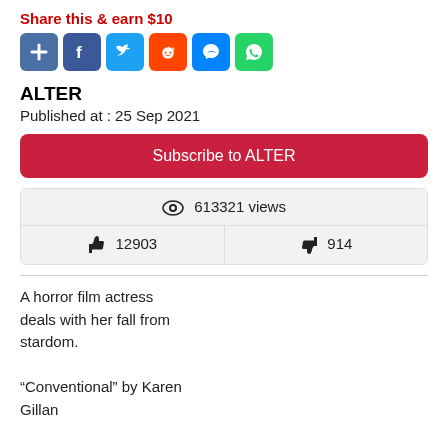Share this & earn $10
[Figure (infographic): Social share buttons: Plus, Facebook, Twitter, Reddit, Messenger, WhatsApp]
ALTER
Published at : 25 Sep 2021
Subscribe to ALTER
| 👁 613321 views |
| 👍 12903 | 👎 914 |
A horror film actress deals with her fall from stardom.
“Conventional” by Karen Gillan